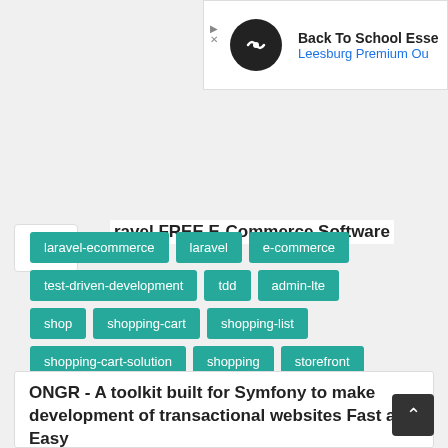[Figure (screenshot): Advertisement banner: Back To School Essentials at Leesburg Premium Outlets]
ravel FREE E-Commerce Software
laravel-ecommerce
laravel
e-commerce
test-driven-development
tdd
admin-lte
shop
shopping-cart
shopping-list
shopping-cart-solution
shopping
storefront
free
open-source
opensource
ecommerce
ONGR - A toolkit built for Symfony to make development of transactional websites Fast and Easy
★★★★★ PHP